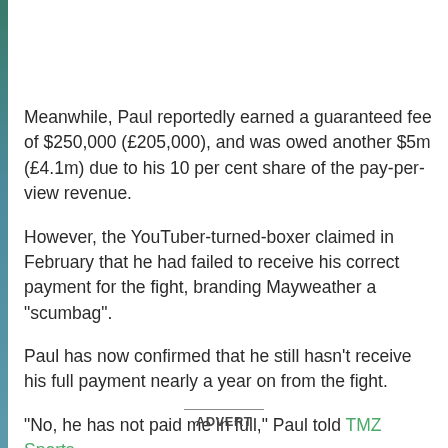Meanwhile, Paul reportedly earned a guaranteed fee of $250,000 (£205,000), and was owed another $5m (£4.1m) due to his 10 per cent share of the pay-per-view revenue.
However, the YouTuber-turned-boxer claimed in February that he had failed to receive his correct payment for the fight, branding Mayweather a "scumbag".
Paul has now confirmed that he still hasn't receive his full payment nearly a year on from the fight.
"No, he has not paid me in full," Paul told TMZ Sports.
ADVERT